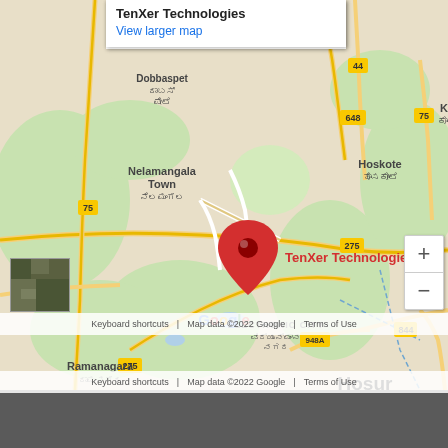[Figure (map): Google Map showing the location of TenXer Technologies in Electronic City, Bengaluru, India. Surrounding areas visible include Nelamangala Town, Dobbaspet, Hoskote, Ramanagara, Hosur, Shoolagiri, Kanakapura. Road numbers 75, 648, 44, 948A, 275, 844 visible. A red location pin marks TenXer Technologies. Map includes satellite thumbnail, zoom controls, Google logo, and footer with keyboard shortcuts and copyright.]
TenXer Technologies
View larger map
Keyboard shortcuts   Map data ©2022 Google   Terms of Use